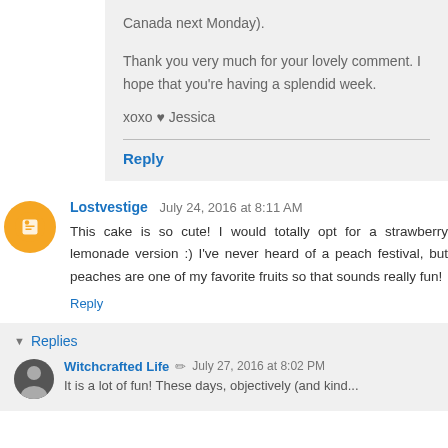Canada next Monday).
Thank you very much for your lovely comment. I hope that you're having a splendid week.
xoxo ♥ Jessica
Reply
Lostvestige  July 24, 2016 at 8:11 AM
This cake is so cute! I would totally opt for a strawberry lemonade version :) I've never heard of a peach festival, but peaches are one of my favorite fruits so that sounds really fun!
Reply
▼ Replies
Witchcrafted Life  July 27, 2016 at 8:02 PM
It is a lot of fun! These days, objectively (and kind...